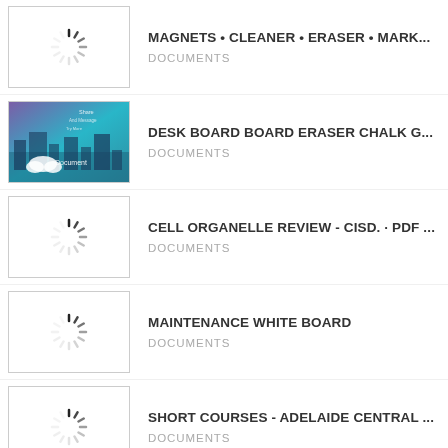[Figure (screenshot): Loading spinner thumbnail with white background and border]
MAGNETS • CLEANER • ERASER • MARK...
DOCUMENTS
[Figure (screenshot): Thumbnail showing a document/presentation cover with city skyline and cloud icon, teal/purple gradient background]
DESK BOARD BOARD ERASER CHALK G...
DOCUMENTS
[Figure (screenshot): Loading spinner thumbnail with white background and border]
CELL ORGANELLE REVIEW - CISD. · PDF ...
DOCUMENTS
[Figure (screenshot): Loading spinner thumbnail with white background and border]
MAINTENANCE WHITE BOARD
DOCUMENTS
[Figure (screenshot): Loading spinner thumbnail with white background and border]
SHORT COURSES - ADELAIDE CENTRAL ...
DOCUMENTS